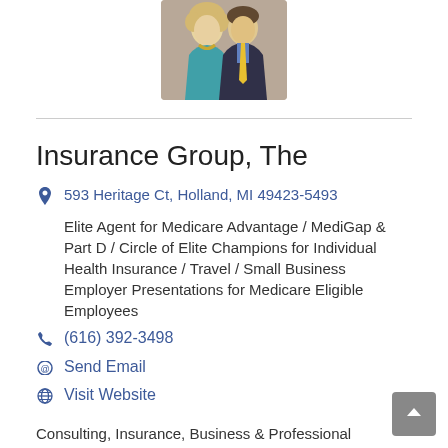[Figure (photo): Photo of two people, a woman with curly blonde hair wearing a teal top and a man in a dark suit with a yellow tie]
Insurance Group, The
593 Heritage Ct, Holland, MI 49423-5493
Elite Agent for Medicare Advantage / MediGap & Part D / Circle of Elite Champions for Individual Health Insurance / Travel / Small Business Employer Presentations for Medicare Eligible Employees
(616) 392-3498
Send Email
Visit Website
Consulting, Insurance, Business & Professional